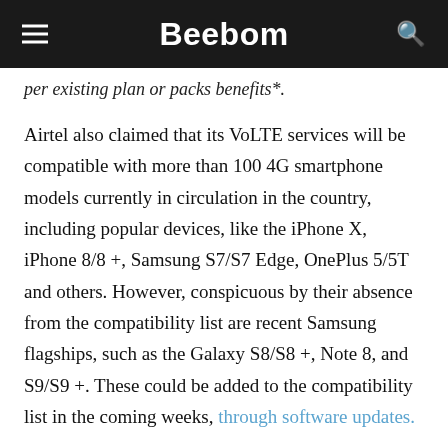Beebom
per existing plan or packs benefits*.
Airtel also claimed that its VoLTE services will be compatible with more than 100 4G smartphone models currently in circulation in the country, including popular devices, like the iPhone X, iPhone 8/8 +, Samsung S7/S7 Edge, OnePlus 5/5T and others. However, conspicuous by their absence from the compatibility list are recent Samsung flagships, such as the Galaxy S8/S8 +, Note 8, and S9/S9 +. These could be added to the compatibility list in the coming weeks, through software updates.
VoLTE was popularized in India by Reliance Jio,